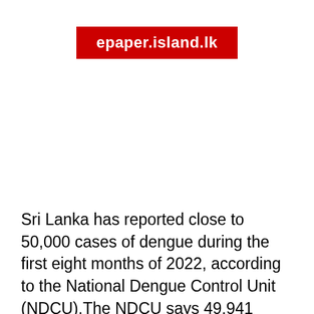epaper.island.lk
Sri Lanka has reported close to 50,000 cases of dengue during the first eight months of 2022, according to the National Dengue Control Unit (NDCU).The NDCU says 49,941 people have been admitted to hospital due to dengue during the past eight months. More than 50